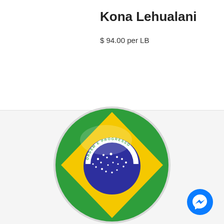Kona Lehualani
$ 94.00 per LB
[Figure (illustration): Brazilian flag rendered as a glossy circular badge/button. Green circle with yellow diamond, blue central circle with white stars and the text 'ORDEM E PROGRESSO' on a white banner arc.]
[Figure (logo): Facebook Messenger icon — blue circle with white lightning bolt chat bubble inside.]